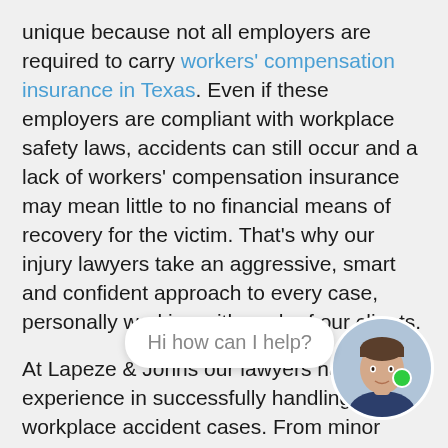unique because not all employers are required to carry workers' compensation insurance in Texas. Even if these employers are compliant with workplace safety laws, accidents can still occur and a lack of workers' compensation insurance may mean little to no financial means of recovery for the victim. That's why our injury lawyers take an aggressive, smart and confident approach to every case, personally working with each of our clients.
At Lapeze & Johns our lawyers have experience in successfully handling major workplace accident cases. From minor injuries and sprains to wrongful death– we know what to expect and we know how to deal with the unexpected. If you have been a victim of a workplace accident today, we can arrange for a consultation.
[Figure (photo): Circular avatar photo of a man in a suit, with a green online indicator dot, and a chat bubble saying 'Hi how can I help?']